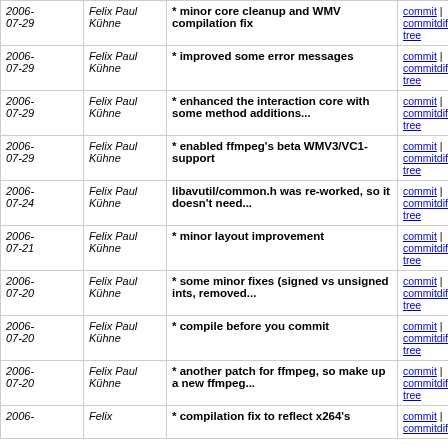| Date | Author | Commit message | Links |
| --- | --- | --- | --- |
| 2006-07-29 | Felix Paul Kühne | * minor core cleanup and WMV compilation fix | commit | commitdiff | tree |
| 2006-07-29 | Felix Paul Kühne | * improved some error messages | commit | commitdiff | tree |
| 2006-07-29 | Felix Paul Kühne | * enhanced the interaction core with some method additions... | commit | commitdiff | tree |
| 2006-07-29 | Felix Paul Kühne | * enabled ffmpeg's beta WMV3/VC1-support | commit | commitdiff | tree |
| 2006-07-24 | Felix Paul Kühne | libavutil/common.h was re-worked, so it doesn't need... | commit | commitdiff | tree |
| 2006-07-21 | Felix Paul Kühne | * minor layout improvement | commit | commitdiff | tree |
| 2006-07-20 | Felix Paul Kühne | * some minor fixes (signed vs unsigned ints, removed... | commit | commitdiff | tree |
| 2006-07-20 | Felix Paul Kühne | * compile before you commit | commit | commitdiff | tree |
| 2006-07-20 | Felix Paul Kühne | * another patch for ffmpeg, so make up a new ffmpeg... | commit | commitdiff | tree |
| 2006-07-?? | Felix Paul Kühne | * compilation fix to reflect x264's | commit | commitdiff |